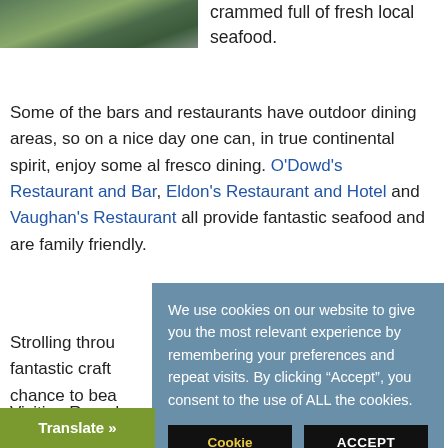[Figure (photo): Partial photo of a road/path with green grass, visible at top left of page]
crammed full of fresh local seafood.
Some of the bars and restaurants have outdoor dining areas, so on a nice day one can, in true continental spirit, enjoy some al fresco dining. O'Dowd's Restaurant and Bar, Eldon's Restaurant and Hotel and Vaughan's Restaurant all provide fantastic seafood and are family friendly.
Strolling throu... fantastic craft... chance to bea...
Visiting Round... relaxing expe...
We use cookies on our website to give you the most relevant experience by remembering your preferences and repeat visits. By clicking “Accept”, you consent to the use of ALL the cookies.
Cookie settings
ACCEPT
Translate »
ay Hooker, a traditional Irish fishing